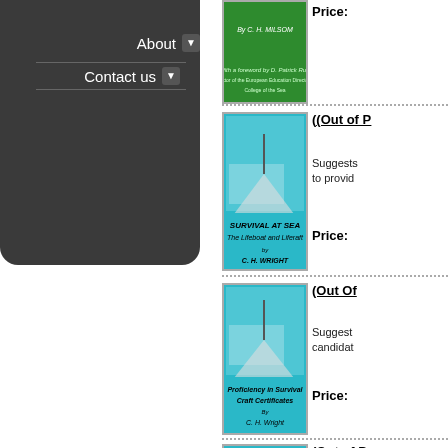About
Contact us
[Figure (photo): Green book cover - By C. H. Milsom]
Price:
[Figure (photo): Cyan book cover - Survival at Sea: The Lifeboat and Liferaft by C. H. Wright]
(Out of P
Suggests to provide
Price:
[Figure (photo): Cyan book cover - Proficiency in Survival Craft Certificates By C. H. Wright]
(Out Of
Suggests candidates
Price:
[Figure (photo): Cyan book cover - Survival For]